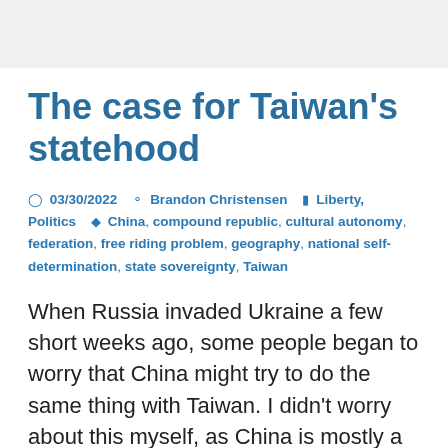The case for Taiwan's statehood
03/30/2022   Brandon Christensen   Liberty, Politics   China, compound republic, cultural autonomy, federation, free riding problem, geography, national self-determination, state sovereignty, Taiwan
When Russia invaded Ukraine a few short weeks ago, some people began to worry that China might try to do the same thing with Taiwan. I didn't worry about this myself, as China is mostly a paper tiger